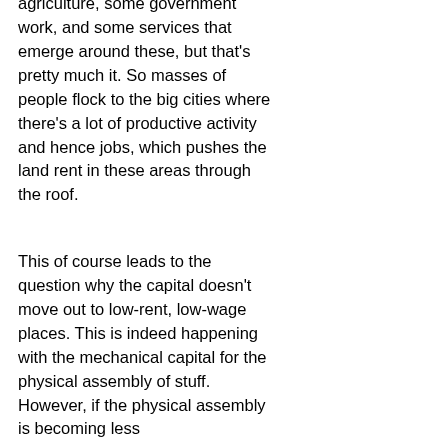agriculture, some government work, and some services that emerge around these, but that's pretty much it. So masses of people flock to the big cities where there's a lot of productive activity and hence jobs, which pushes the land rent in these areas through the roof.
This of course leads to the question why the capital doesn't move out to low-rent, low-wage places. This is indeed happening with the mechanical capital for the physical assembly of stuff. However, if the physical assembly is becoming less